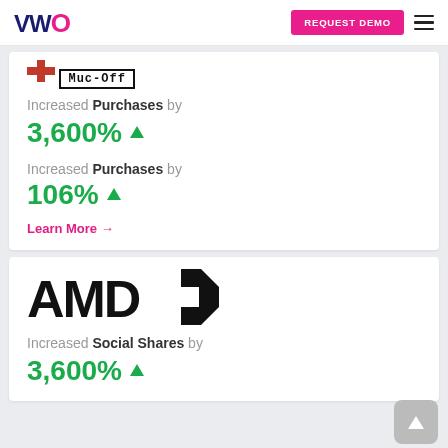VWO | REQUEST DEMO
[Figure (logo): Muc-Off logo with cross icon above boxed Muc-Off text]
Increased Purchases by
106%
Learn More →
[Figure (logo): AMD logo in bold black text with AMD arrow icon]
Increased Social Shares by
3,600%